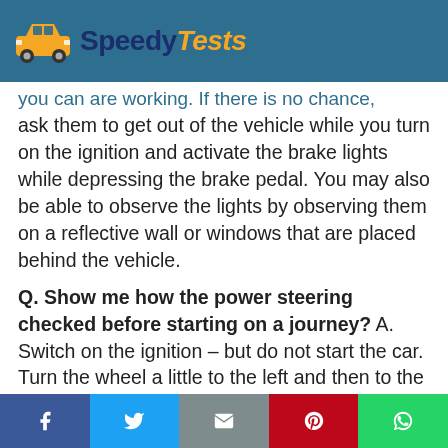SpeedyTests
you can are working. If there is no chance, ask them to get out of the vehicle while you turn on the ignition and activate the brake lights while depressing the brake pedal. You may also be able to observe the lights by observing them on a reflective wall or windows that are placed behind the vehicle.
Q. Show me how the power steering checked before starting on a journey? A. Switch on the ignition – but do not start the car. Turn the wheel a little to the left and then to the right ensuring
f  (twitter)  (email)  p  (whatsapp)